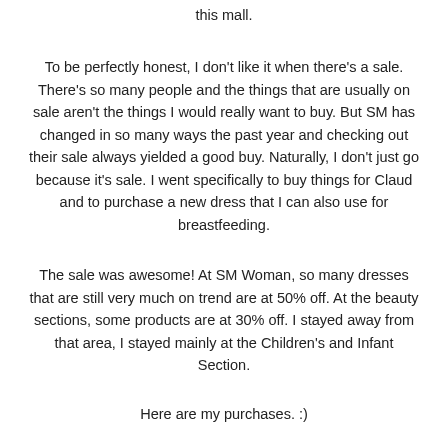this mall.
To be perfectly honest, I don't like it when there's a sale. There's so many people and the things that are usually on sale aren't the things I would really want to buy. But SM has changed in so many ways the past year and checking out their sale always yielded a good buy. Naturally, I don't just go because it's sale. I went specifically to buy things for Claud and to purchase a new dress that I can also use for breastfeeding.
The sale was awesome! At SM Woman, so many dresses that are still very much on trend are at 50% off. At the beauty sections, some products are at 30% off. I stayed away from that area, I stayed mainly at the Children's and Infant Section.
Here are my purchases. :)